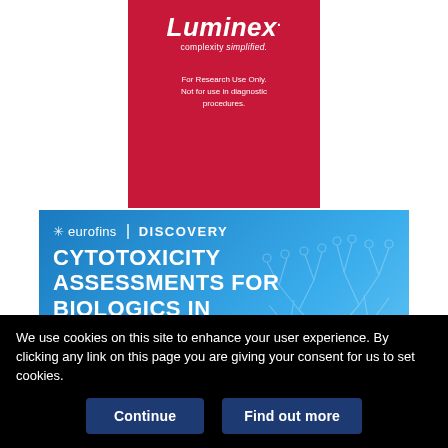[Figure (advertisement): Luminex advertisement on red background. Logo: 'Luminex.' in bold italic white with registered trademark. Tagline: 'complexity simplified.' Text: 'For Research Use Only. Not for use in diagnostic procedures.']
[Figure (advertisement): Eurofins Discovery advertisement on blue gradient background with tree illustration. Header: eurofins | DISCOVERY. Title: 'CYTOTOXICITY ASSESSMENTS FOR BIOLOGICS IN HUMAN CELLS'. Subtitle: 'Assays include ADCC and cell viability, with customizations']
We use cookies on this site to enhance your user experience. By clicking any link on this page you are giving your consent for us to set cookies.
Continue | Find out more